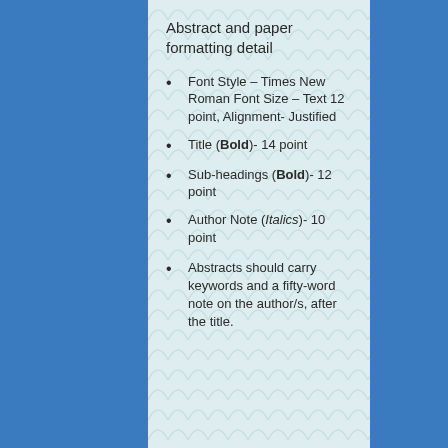Abstract and paper formatting detail
Font Style – Times New Roman Font Size – Text 12 point, Alignment- Justified
Title (Bold)- 14 point
Sub-headings (Bold)- 12 point
Author Note (Italics)- 10 point
Abstracts should carry keywords and a fifty-word note on the author/s, after the title.